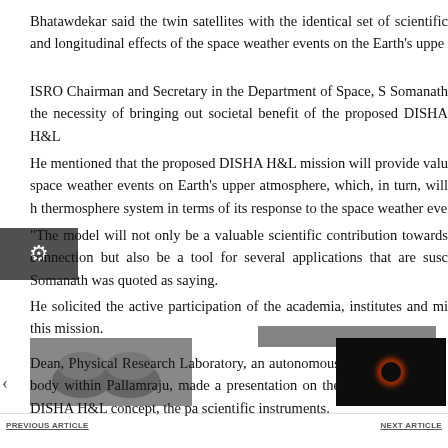Bhatawdekar said the twin satellites with the identical set of scientific and longitudinal effects of the space weather events on the Earth's uppe
ISRO Chairman and Secretary in the Department of Space, S Somanath the necessity of bringing out societal benefit of the proposed DISHA H&L
He mentioned that the proposed DISHA H&L mission will provide valu space weather events on Earth's upper atmosphere, which, in turn, will h thermosphere system in terms of its response to the space weather eve
"The model will not only be a valuable scientific contribution towards connection but also be a tool for several applications that are susc Somanath was quoted as saying.
He solicited the active participation of the academia, institutes and mi this mission.
Dean, Physical Research Laboratory, an autonomous body within Pallamraju, made a presentation on the DISHA H&L concept, the pa scientific instruments.
[Figure (photo): Thumbnail image of satellite components on left side]
[Figure (photo): Thumbnail dark image of a bright circular object (possibly black hole) on right side]